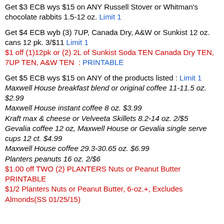Get $3 ECB wys $15 on ANY Russell Stover or Whitman's chocolate rabbits 1.5-12 oz. Limit 1
Get $4 ECB wyb (3) 7UP, Canada Dry, A&W or Sunkist 12 oz. cans 12 pk. 3/$11 Limit 1
$1 off (1)12pk or (2) 2L of Sunkist Soda TEN Canada Dry TEN, 7UP TEN, A&W TEN : PRINTABLE
Get $5 ECB wys $15 on ANY of the products listed : Limit 1
Maxwell House breakfast blend or original coffee 11-11.5 oz. $2.99
Maxwell House instant coffee 8 oz. $3.99
Kraft max & cheese or Velveeta Skillets 8.2-14 oz. 2/$5
Gevalia coffee 12 oz, Maxwell House or Gevalia single serve cups 12 ct. $4.99
Maxwell House coffee 29.3-30.65 oz. $6.99
Planters peanuts 16 oz. 2/$6
$1.00 off TWO (2) PLANTERS Nuts or Peanut Butter PRINTABLE
$1/2 Planters Nuts or Peanut Butter, 6-oz.+, Excludes Almonds(SS 01/25/15)